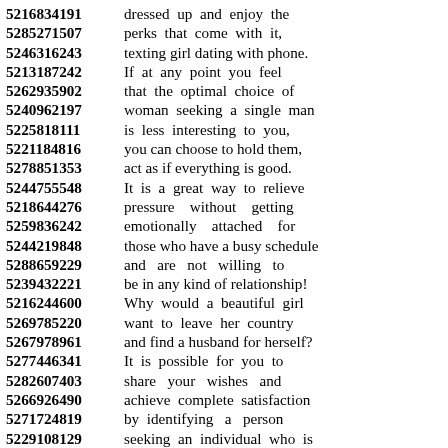5216834191 dressed up and enjoy the 5285271507 perks that come with it, 5246316243 texting girl dating with phone. 5213187242 If at any point you feel 5262935902 that the optimal choice of 5240962197 woman seeking a single man 5225818111 is less interesting to you, 5221184816 you can choose to hold them, 5278851353 act as if everything is good. 5244755548 It is a great way to relieve 5218644276 pressure without getting 5259836242 emotionally attached for 5244219848 those who have a busy schedule 5288659229 and are not willing to 5239432221 be in any kind of relationship! 5216244600 Why would a beautiful girl 5269785220 want to leave her country 5267978961 and find a husband for herself? 5277446341 It is possible for you to 5282607403 share your wishes and 5266926490 achieve complete satisfaction 5271724819 by identifying a person 5229108129 seeking an individual who is 5237768980 willing to listen to your desires 5285632575 and needs for improvement.